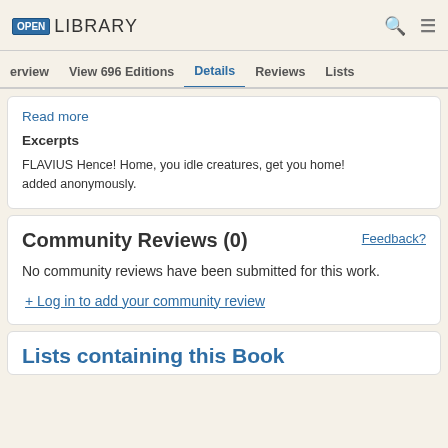OPEN LIBRARY
erview  View 696 Editions  Details  Reviews  Lists
Read more
Excerpts
FLAVIUS Hence! Home, you idle creatures, get you home! added anonymously.
Community Reviews (0)
Feedback?
No community reviews have been submitted for this work.
+ Log in to add your community review
Lists containing this Book